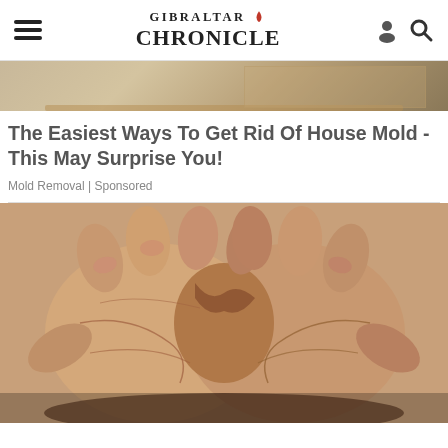GIBRALTAR CHRONICLE
[Figure (photo): Partial view of a room interior, showing what appears to be a wooden surface and wall, cropped at the top of the page.]
The Easiest Ways To Get Rid Of House Mold - This May Surprise You!
Mold Removal | Sponsored
[Figure (photo): Close-up photograph of two hands with palms facing up, fingers interlocked or touching, showing skin texture and lines. The skin appears reddish in places, suggesting aged or weathered hands.]